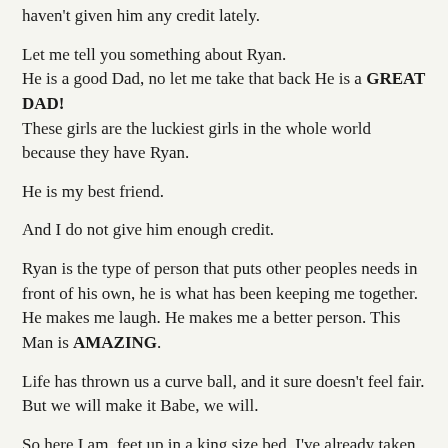haven't given him any credit lately.
Let me tell you something about Ryan.
He is a good Dad, no let me take that back He is a GREAT DAD!
These girls are the luckiest girls in the whole world because they have Ryan.
He is my best friend.
And I do not give him enough credit.
Ryan is the type of person that puts other peoples needs in front of his own, he is what has been keeping me together. He makes me laugh. He makes me a better person. This Man is AMAZING.
Life has thrown us a curve ball, and it sure doesn't feel fair. But we will make it Babe, we will.
So here I am, feet up in a king size bed, I've already taken a shower, ate dinner, and relaxed. And the only person I can thank right now is Ryan. Because he is truely amazing, because when everything is falling down around us he stands tall. He takes care